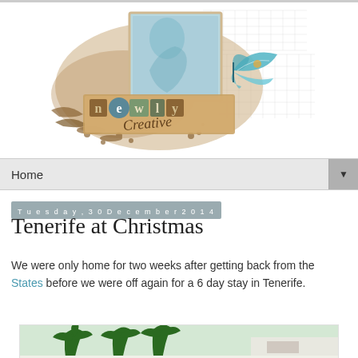[Figure (logo): Newly Creative blog logo with decorative butterfly, floral elements, and the text 'newly creative' in mixed block letters and script on a brown/tan textured background with a light blue photo frame]
Home
Tuesday, 30 December 2014
Tenerife at Christmas
We were only home for two weeks after getting back from the States before we were off again for a 6 day stay in Tenerife.
[Figure (photo): Photograph of Tenerife showing palm trees and a white building]